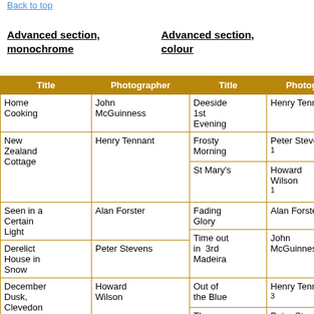Back to top
Advanced section, monochrome
Advanced section, colour
| Title | Photographer | Title | Photographer | Pos |
| --- | --- | --- | --- | --- |
| Home Cooking | John McGuinness | Deeside 1st Evening | Henry Tennant |  |
| New Zealand Cottage | Henry Tennant | Frosty Morning | Peter Stevens 1 | 1st |
|  |  | St Mary's | Howard Wilson 1 | 2nd |
| Seen in a Certain Light | Alan Forster | Fading Glory | Alan Forster |  |
| Derelict House in Snow | Peter Stevens | Time out in 3rd Madeira | John McGuinness |  |
| December Dusk, Clevedon Pier | Howard Wilson | Out of the Blue | Henry Tennant 3 | HC |
|  |  | The Storm | Peter Stevens | HC |
| Boy |  | Room |  |  |